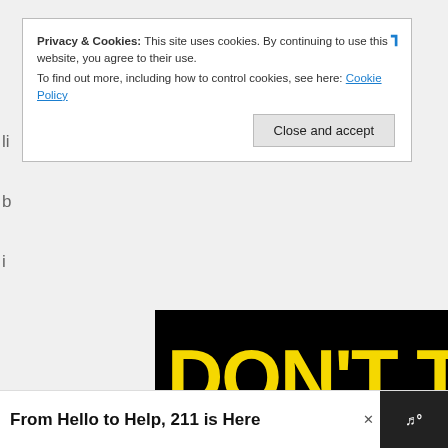Privacy & Cookies: This site uses cookies. By continuing to use this website, you agree to their use.
To find out more, including how to control cookies, see here: Cookie Policy
Close and accept
li
b
i
[Figure (illustration): Don't Text And Drive advertisement from Ad Council and NHTSA. Black background with yellow bold text 'DON'T TEXT', cyan bold text 'AND', and a red cartoon car emoji. Ad Council and NHTSA logos at bottom.]
From Hello to Help, 211 is Here